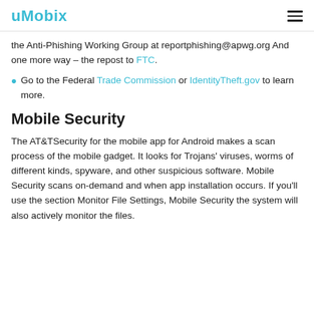uMobix
the Anti-Phishing Working Group at reportphishing@apwg.org And one more way – the repost to FTC.
Go to the Federal Trade Commission or IdentityTheft.gov to learn more.
Mobile Security
The AT&TSecurity for the mobile app for Android makes a scan process of the mobile gadget. It looks for Trojans' viruses, worms of different kinds, spyware, and other suspicious software. Mobile Security scans on-demand and when app installation occurs. If you'll use the section Monitor File Settings, Mobile Security the system will also actively monitor the files.